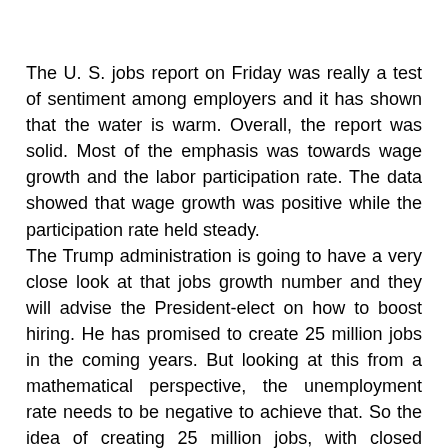The U. S. jobs report on Friday was really a test of sentiment among employers and it has shown that the water is warm. Overall, the report was solid. Most of the emphasis was towards wage growth and the labor participation rate. The data showed that wage growth was positive while the participation rate held steady. The Trump administration is going to have a very close look at that jobs growth number and they will advise the President-elect on how to boost hiring. He has promised to create 25 million jobs in the coming years. But looking at this from a mathematical perspective, the unemployment rate needs to be negative to achieve that. So the idea of creating 25 million jobs, with closed borders, is really an idea that is difficult to digest. Moreover, Donald Trump is all about “producing in America.” Corporations, to save on labor costs, will invest more heavily in technology to make the system less reliant on labor intensive jobs. At